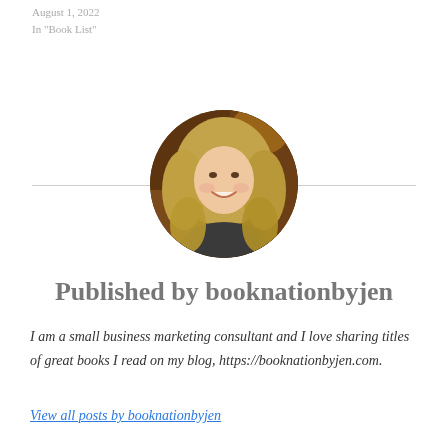August 1, 2022
In "Book List"
[Figure (photo): Circular profile photo of a smiling woman with long blonde hair, in a warm indoor setting]
Published by booknationbyjen
I am a small business marketing consultant and I love sharing titles of great books I read on my blog, https://booknationbyjen.com.
View all posts by booknationbyjen